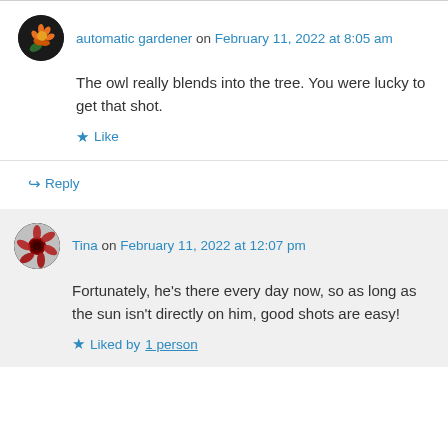automatic gardener on February 11, 2022 at 8:05 am
The owl really blends into the tree. You were lucky to get that shot.
★ Like
↪ Reply
Tina on February 11, 2022 at 12:07 pm
Fortunately, he's there every day now, so as long as the sun isn't directly on him, good shots are easy!
★ Liked by 1 person